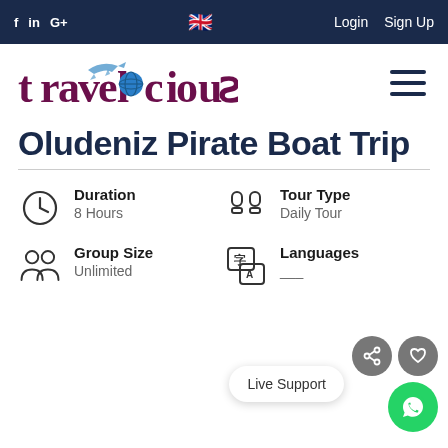f  in  G+  🇬🇧  Login  Sign Up
[Figure (logo): Travelicious logo with airplane and globe icons]
Oludeniz Pirate Boat Trip
Duration
8 Hours
Tour Type
Daily Tour
Group Size
Unlimited
Languages
___